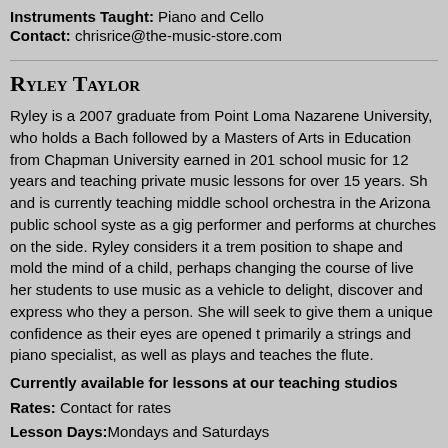Instruments Taught: Piano and Cello
Contact: chrisrice@the-music-store.com
Ryley Taylor
Ryley is a 2007 graduate from Point Loma Nazarene University, who holds a Bachelor followed by a Masters of Arts in Education from Chapman University earned in 201 school music for 12 years and teaching private music lessons for over 15 years. She and is currently teaching middle school orchestra in the Arizona public school syste as a gig performer and performs at churches on the side. Ryley considers it a trem position to shape and mold the mind of a child, perhaps changing the course of live her students to use music as a vehicle to delight, discover and express who they a person. She will seek to give them a unique confidence as their eyes are opened to primarily a strings and piano specialist, as well as plays and teaches the flute.
Currently available for lessons at our teaching studios
Rates: Contact for rates
Lesson Days: Mondays and Saturdays
Instruments Taught: Violin, viola, beginning cello, piano
Contact: ryleytaylor@the-music-store.com
Tom Young
Tom is a graduate of the renowned Berklee School of Music. For the past 20 years